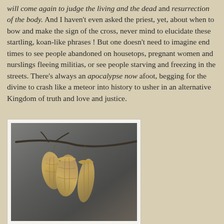will come again to judge the living and the dead and resurrection of the body. And I haven't even asked the priest, yet, about when to bow and make the sign of the cross, never mind to elucidate these startling, koan-like phrases ! But one doesn't need to imagine end times to see people abandoned on housetops, pregnant women and nurslings fleeing militias, or see people starving and freezing in the streets. There's always an apocalypse now afoot, begging for the divine to crash like a meteor into history to usher in an alternative Kingdom of truth and love and justice.
[Figure (photo): A photograph with a white border showing dried seed pods hanging from a bare tree branch against a gray-brown background.]